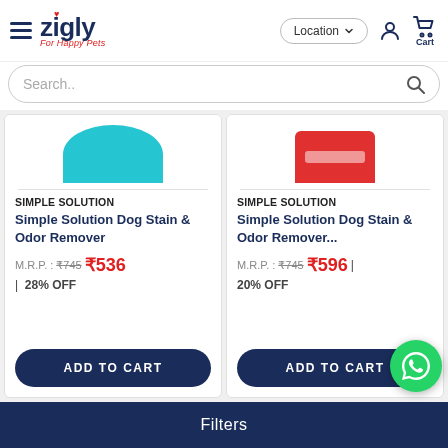[Figure (screenshot): Zigly pet store website header with hamburger menu, Zigly logo with 'For Happy Pets' tagline, Location dropdown button, user icon, and cart icon]
[Figure (screenshot): Search bar with placeholder text 'Search..' and magnifying glass icon]
[Figure (screenshot): Product card 1: Simple Solution Dog Stain & Odor Remover, teal product image, MRP ₹745 discounted to ₹536, 28% OFF, ADD TO CART button]
[Figure (screenshot): Product card 2: Simple Solution Dog Stain & Odor Remover..., red product image, MRP ₹745 discounted to ₹596, 20% OFF, ADD TO CART button]
Filters